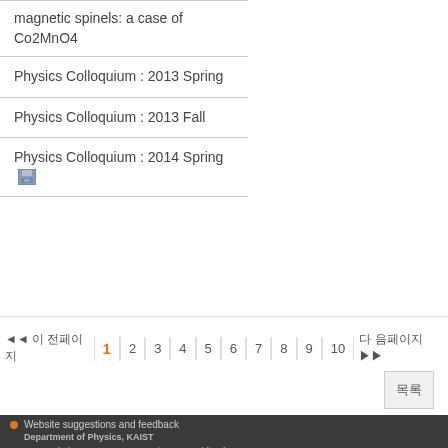magnetic spinels: a case of Co2MnO4
Physics Colloquium : 2013 Spring
Physics Colloquium : 2013 Fall
Physics Colloquium : 2014 Spring
« 이 전페이지  1  2  3  4  5  6  7  8  9  10  다 음페이지 »
목록
Website suggestions and feedback
Department of Physics, KAIST
291 Daehak-ro, Yuseong-gu, Daejeon, Republic of Korea 34141
Copyright (C) 2018 KAIST, All Rights Reserved.